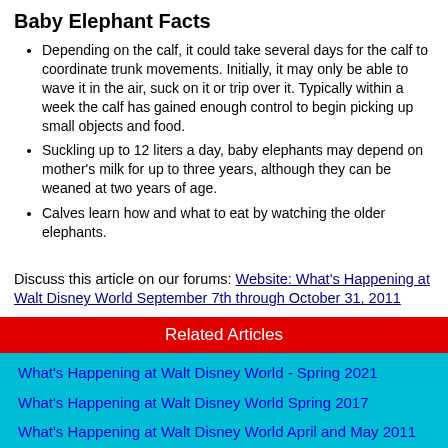Baby Elephant Facts
Depending on the calf, it could take several days for the calf to coordinate trunk movements. Initially, it may only be able to wave it in the air, suck on it or trip over it. Typically within a week the calf has gained enough control to begin picking up small objects and food.
Suckling up to 12 liters a day, baby elephants may depend on mother's milk for up to three years, although they can be weaned at two years of age.
Calves learn how and what to eat by watching the older elephants.
Discuss this article on our forums: Website: What's Happening at Walt Disney World September 7th through October 31, 2011
Related Articles
What's Happening at Walt Disney World - Spring 2021
What's Happening at Walt Disney World Spring 2017
What's Happening at Walt Disney World April and May 2011